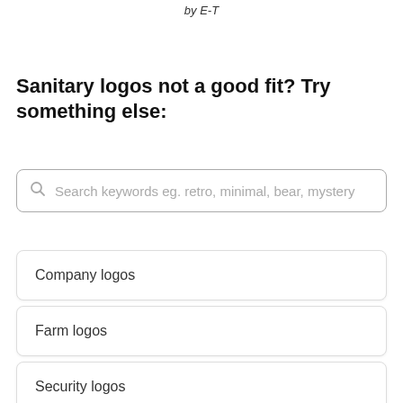by E-T
Sanitary logos not a good fit? Try something else:
Search keywords eg. retro, minimal, bear, mystery
Company logos
Farm logos
Security logos